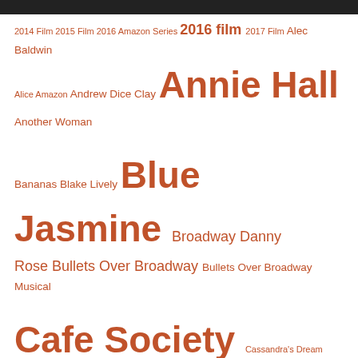[Figure (infographic): Word cloud of Woody Allen films and related actors/topics in orange/coral color on white background. Words sized by frequency/importance. Terms include: 2014 Film, 2015 Film, 2016 Amazon Series, 2016 film, 2017 Film, Alec Baldwin, Alice, Amazon, Andrew Dice Clay, Annie Hall, Another Woman, Bananas, Blake Lively, Blue Jasmine, Broadway Danny Rose, Bullets Over Broadway, Bullets Over Broadway Musical, Cafe Society, Cassandra's Dream, Cate Blanchett, Celebrity, Colin Firth, Crimes And Misdemeanors, Crisis In Six Scenes, Deconstructing Harry, Diane Keaton, Emma Stone, Everyone Says I Love You, Everything You Always Wanted to Know About Sex, Fading Gigolo, Hannah And Her Sisters, Husbands And Wives, Interiors, Irrational Man, Jesse Eisenberg, Joaquin Phoenix, John Turturro, Juno Temple, Justin Timberlake, Kate Winslet, Kristen Stewart, Love And Death, Magic In the]